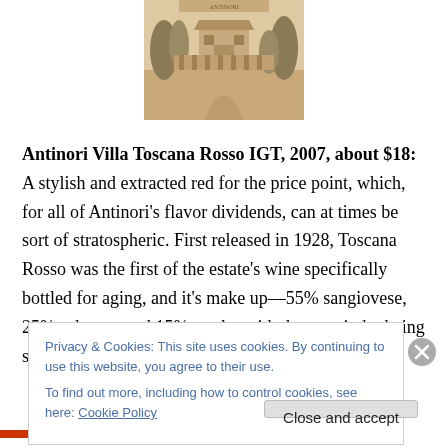[Figure (illustration): Vintage engraving/illustration of a Tuscan estate or villa with trees and architecture on a beige/sepia background]
Antinori Villa Toscana Rosso IGT, 2007, about $18:  A stylish and extracted red for the price point, which, for all of Antinori's flavor dividends, can at times be sort of stratospheric.  First released in 1928, Toscana Rosso was the first of the estate's wine specifically bottled for aging, and it's make up—55% sangiovese, 25% cabernet and 15% merlot with the remainder being syrah—does not fit
Privacy & Cookies: This site uses cookies. By continuing to use this website, you agree to their use.
To find out more, including how to control cookies, see here: Cookie Policy